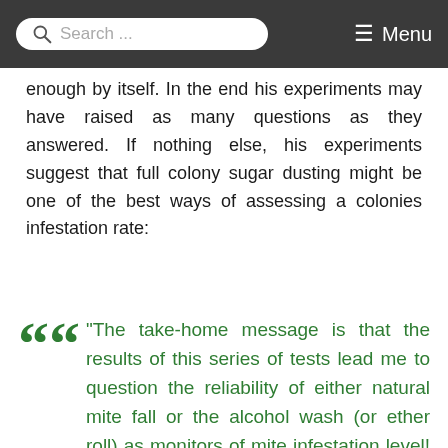Search ... ≡ Menu
enough by itself. In the end his experiments may have raised as many questions as they answered. If nothing else, his experiments suggest that full colony sugar dusting might be one of the best ways of assessing a colonies infestation rate:
"The take-home message is that the results of this series of tests lead me to question the reliability of either natural mite fall or the alcohol wash (or ether roll) as monitors of mite infestation level! It appears to me that a whole-colony mite drop accelerated by sugar dust (or other